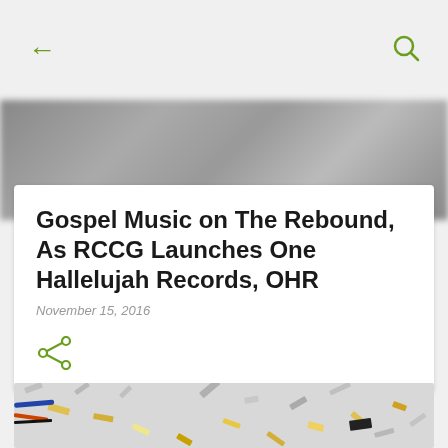← (back) | (search)
[Figure (photo): Blurred grey background hero image]
Gospel Music on The Rebound, As RCCG Launches One Hallelujah Records, OHR
November 15, 2016
[Figure (illustration): Share icon (green)]
[Figure (photo): Close-up photo of silver and gold confetti scattered on a surface with colorful wires]